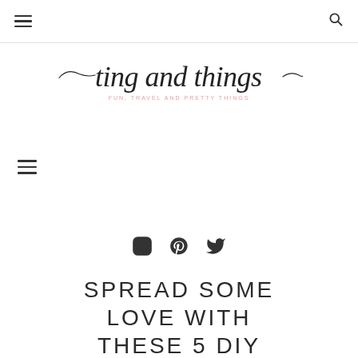≡  [search icon]
[Figure (logo): Ting and Things script logo with tagline 'Fun, Travel and Pretty Things']
[Figure (other): Hamburger menu icon on left side]
[Figure (other): Social media icons: Instagram, Pinterest, Twitter]
SPREAD SOME LOVE WITH THESE 5 DIY